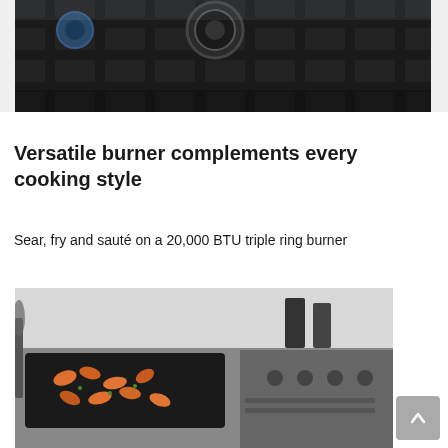[Figure (photo): Close-up photo of a gas stove top burner with dark metal grates, showing a blue dial control and metallic surfaces]
Versatile burner complements every cooking style
Sear, fry and sauté on a 20,000 BTU triple ring burner
[Figure (photo): Photo of a gas cooktop with a black griddle pan holding shrimp and vegetables, with kitchen tools visible in the background]